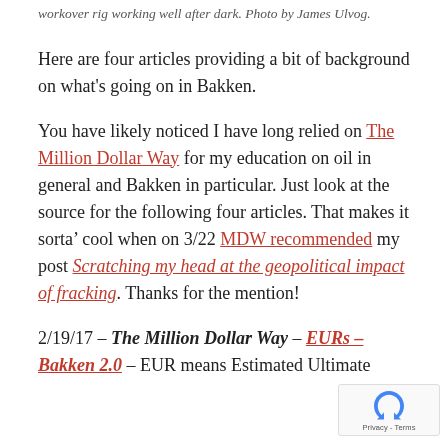workover rig working well after dark. Photo by James Ulvog.
Here are four articles providing a bit of background on what's going on in Bakken.
You have likely noticed I have long relied on The Million Dollar Way for my education on oil in general and Bakken in particular. Just look at the source for the following four articles. That makes it sorta' cool when on 3/22 MDW recommended my post Scratching my head at the geopolitical impact of fracking. Thanks for the mention!
2/19/17 – The Million Dollar Way – EURs – Bakken 2.0 – EUR means Estimated Ultimate